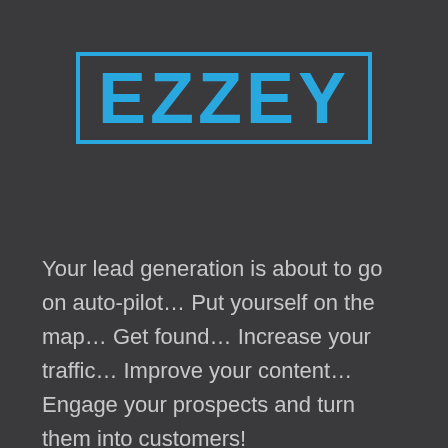[Figure (logo): EZZEY logo: bold cyan text 'EZZEY' inside a cyan rectangular border on a dark background]
Your lead generation is about to go on auto-pilot… Put yourself on the map… Get found… Increase your traffic… Improve your content… Engage your prospects and turn them into customers!